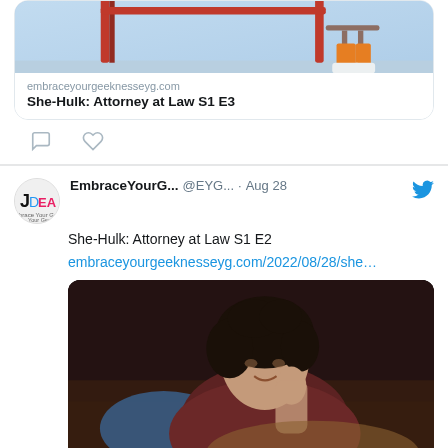[Figure (screenshot): Top portion of a tweet showing a link preview card with image for She-Hulk: Attorney at Law S1 E3 from embraceyourgeeknesseyg.com, with comment and like icons below]
[Figure (screenshot): Second tweet by EmbraceYourG... @EYG... dated Aug 28 about She-Hulk: Attorney at Law S1 E2 with a link and a photo of a woman with dark curly hair reclining on a couch]